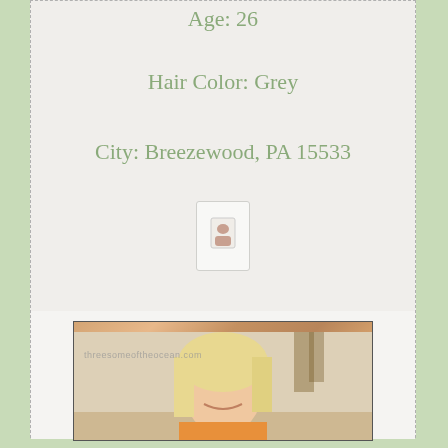Age: 26
Hair Color: Grey
City: Breezewood, PA 15533
[Figure (photo): Small icon/badge image in a white card]
[Figure (photo): Photo of a blonde woman smiling, with watermark 'threesomeoftheocean.com']